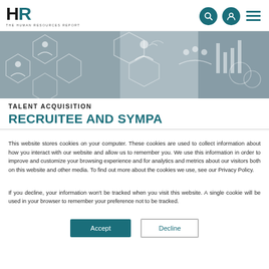HR - THE HUMAN RESOURCES REPORT
[Figure (photo): Banner image with hexagonal network/people icons in grayscale, depicting HR and talent management concepts]
TALENT ACQUISITION
RECRUITEE AND SYMPA
This website stores cookies on your computer. These cookies are used to collect information about how you interact with our website and allow us to remember you. We use this information in order to improve and customize your browsing experience and for analytics and metrics about our visitors both on this website and other media. To find out more about the cookies we use, see our Privacy Policy.
If you decline, your information won’t be tracked when you visit this website. A single cookie will be used in your browser to remember your preference not to be tracked.
Accept | Decline